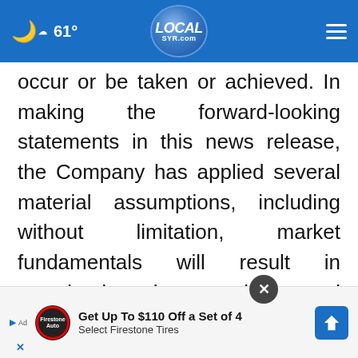61° LOCALsyr.com
occur or be taken or achieved. In making the forward-looking statements in this news release, the Company has applied several material assumptions, including without limitation, market fundamentals will result in sustained precious metals demand and prices, the receipt of any necessary permits, licenses and regulatory approvals in connection with the future exploration and development of the Company's, the availability for
[Figure (other): Advertisement overlay: Firestone Auto logo, text 'Get Up To $110 Off a Set of 4 Select Firestone Tires', blue arrow icon, close (X) button]